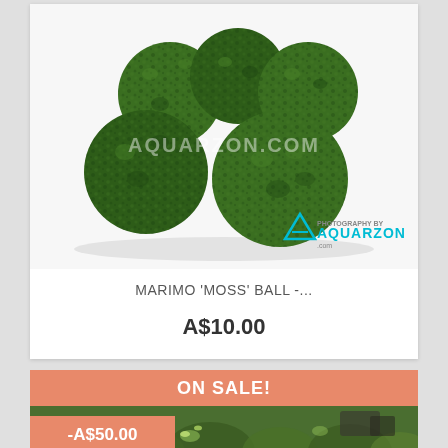[Figure (photo): Group of green marimo moss balls on white background with AQUARZON.COM watermark and photography logo]
MARIMO 'MOSS' BALL -...
A$10.00
ON SALE!
[Figure (photo): Aquatic plants / moss carpet underwater scene, green plants with rocks]
-A$50.00